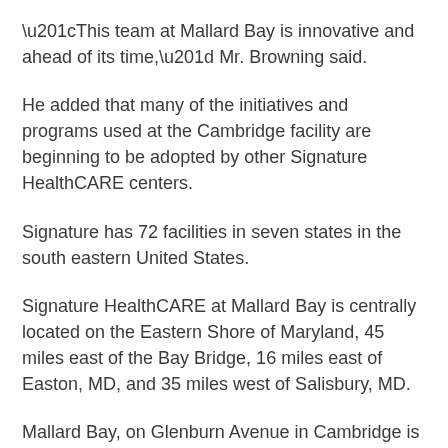“This team at Mallard Bay is innovative and ahead of its time,” Mr. Browning said.
He added that many of the initiatives and programs used at the Cambridge facility are beginning to be adopted by other Signature HealthCARE centers.
Signature has 72 facilities in seven states in the south eastern United States.
Signature HealthCARE at Mallard Bay is centrally located on the Eastern Shore of Maryland, 45 miles east of the Bay Bridge, 16 miles east of Easton, MD, and 35 miles west of Salisbury, MD.
Mallard Bay, on Glenburn Avenue in Cambridge is a 160-bed dually certified skilled nursing and rehabilitation center.